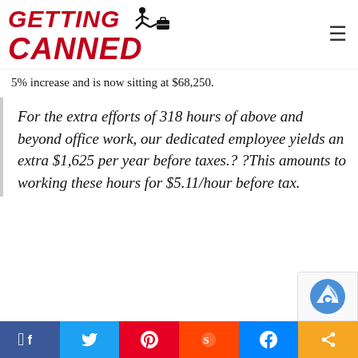[Figure (logo): Getting Canned website logo with red italic bold text and a running figure kicking a briefcase icon]
5% increase and is now sitting at $68,250.
For the extra efforts of 318 hours of above and beyond office work, our dedicated employee yields an extra $1,625 per year before taxes.? ?This amounts to working these hours for $5.11/hour before tax.